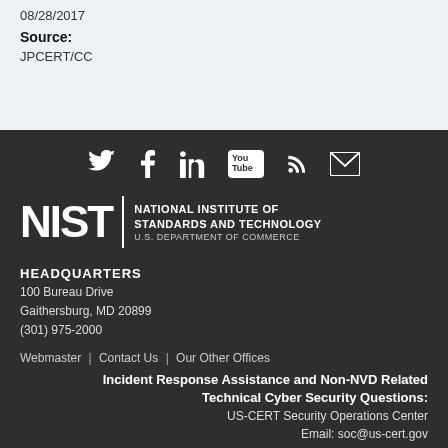08/28/2017
Source:
JPCERT/CC
[Figure (other): Social media icons: Twitter, Facebook, LinkedIn, YouTube, RSS feed, Email]
[Figure (logo): NIST logo — National Institute of Standards and Technology, U.S. Department of Commerce]
HEADQUARTERS
100 Bureau Drive
Gaithersburg, MD 20899
(301) 975-2000
Webmaster | Contact Us | Our Other Offices
Incident Response Assistance and Non-NVD Related Technical Cyber Security Questions:
US-CERT Security Operations Center
Email: soc@us-cert.gov